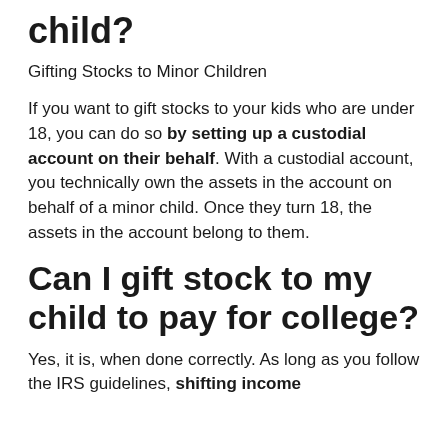child?
Gifting Stocks to Minor Children
If you want to gift stocks to your kids who are under 18, you can do so by setting up a custodial account on their behalf. With a custodial account, you technically own the assets in the account on behalf of a minor child. Once they turn 18, the assets in the account belong to them.
Can I gift stock to my child to pay for college?
Yes, it is, when done correctly. As long as you follow the IRS guidelines, shifting income